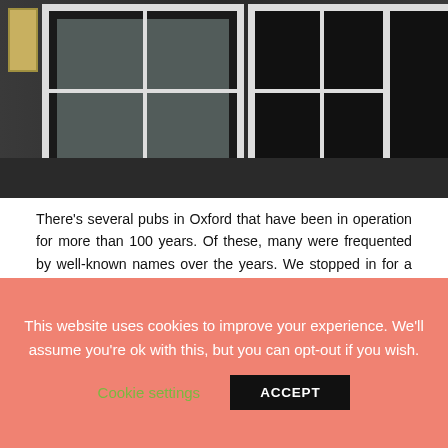[Figure (photo): Exterior view of a traditional English pub building showing black-painted facade with white-framed windows]
There's several pubs in Oxford that have been in operation for more than 100 years. Of these, many were frequented by well-known names over the years. We stopped in for a pint at the Eagle and Child, which served as a meeting spot of the Inklings, a group that counted J.R.R Tolkien and C.S. Lewis among its members. The first draft of The Lion, the Witch and the Wardrobe was reportedly first shared in the pub. It is your typical English pub, slightly musty smell with the usual drinks on tap. Other notable Oxford pubs include:
This website uses cookies to improve your experience. We'll assume you're ok with this, but you can opt-out if you wish.
Cookie settings
ACCEPT